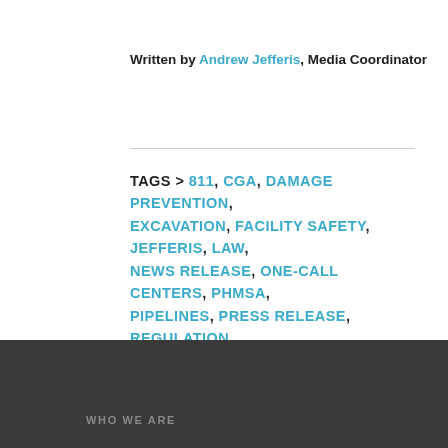Written by Andrew Jefferis, Media Coordinator
TAGS > 811, CGA, DAMAGE PREVENTION, EXCAVATION, FACILITY SAFETY, JEFFERIS, LAW, NEWS RELEASE, ONE-CALL CENTERS, PHMSA, PIPELINES, PRESS RELEASE, REGULATION, REPORT CARD, STATES, UNDERGROUND, UTILITY
WHO WE ARE